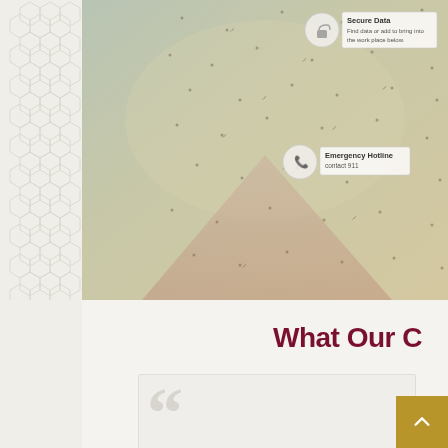[Figure (infographic): A map or geographical visualization showing a scatter of dots/points with a triangular pale rose/mauve highlighted region in the center-bottom. Two interactive tooltip callouts are visible: 'Secure Data' at top with descriptive text, and 'Emergency Hotline' in the middle area. The image is cropped from a larger interactive web map.]
What Our C
[Figure (illustration): Large decorative opening quotation mark in light gray at bottom of page, within a testimonial card section.]